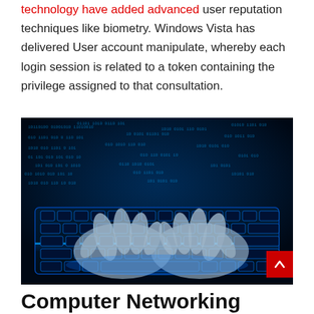technology have added advanced user reputation techniques like biometry. Windows Vista has delivered User account manipulate, whereby each login session is related to a token containing the privilege assigned to that consultation.
[Figure (photo): A photo of two glowing blue hands typing on an illuminated blue keyboard with binary code digits streaming upward in the background, suggesting cybersecurity or computer networking themes.]
Computer Networking